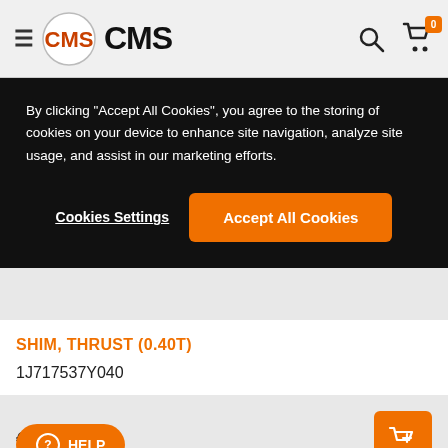CMS
By clicking "Accept All Cookies", you agree to the storing of cookies on your device to enhance site navigation, analyze site usage, and assist in our marketing efforts.
Cookies Settings
Accept All Cookies
SHIM, THRUST (0.40T)
1J717537Y040
€ 3.50
HELP